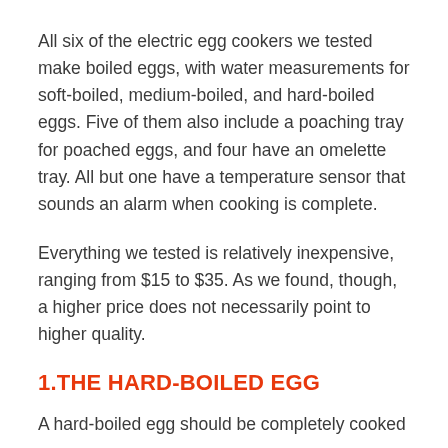All six of the electric egg cookers we tested make boiled eggs, with water measurements for soft-boiled, medium-boiled, and hard-boiled eggs. Five of them also include a poaching tray for poached eggs, and four have an omelette tray. All but one have a temperature sensor that sounds an alarm when cooking is complete.
Everything we tested is relatively inexpensive, ranging from $15 to $35. As we found, though, a higher price does not necessarily point to higher quality.
1.THE HARD-BOILED EGG
A hard-boiled egg should be completely cooked